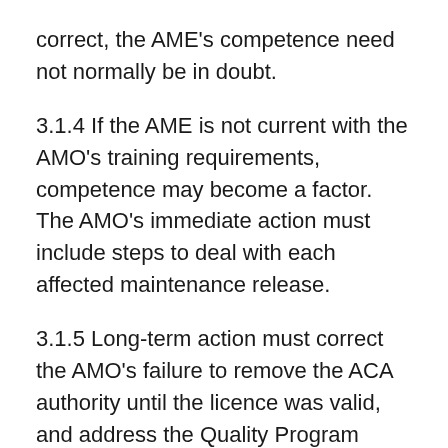correct, the AME's competence need not normally be in doubt.
3.1.4 If the AME is not current with the AMO's training requirements, competence may become a factor. The AMO's immediate action must include steps to deal with each affected maintenance release.
3.1.5 Long-term action must correct the AMO's failure to remove the ACA authority until the licence was valid, and address the Quality Program deficiencies that permitted the ACA system failure to go undetected.